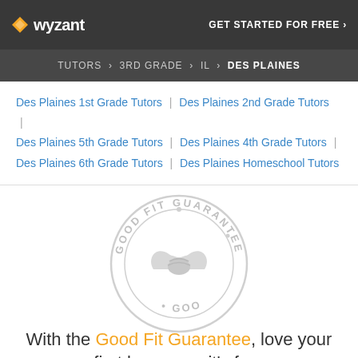wyzant | GET STARTED FOR FREE ›
TUTORS › 3RD GRADE › IL › DES PLAINES
Des Plaines 1st Grade Tutors | Des Plaines 2nd Grade Tutors | Des Plaines 5th Grade Tutors | Des Plaines 4th Grade Tutors | Des Plaines 6th Grade Tutors | Des Plaines Homeschool Tutors
[Figure (illustration): Good Fit Guarantee circular seal/badge watermark in light gray]
With the Good Fit Guarantee, love your first lesson, or it's free